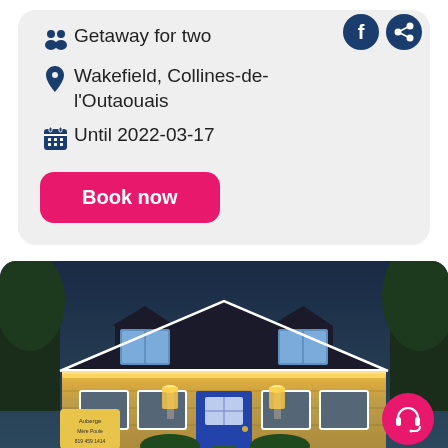Getaway for two
Wakefield, Collines-de-l'Outaouais
Until 2022-03-17
Book now
[Figure (photo): Exterior photo of a stone cottage/inn at dusk with warm amber lighting, dormers on a dark roof, a blue front door, lantern lights, trees in background, and a sign near the entrance.]